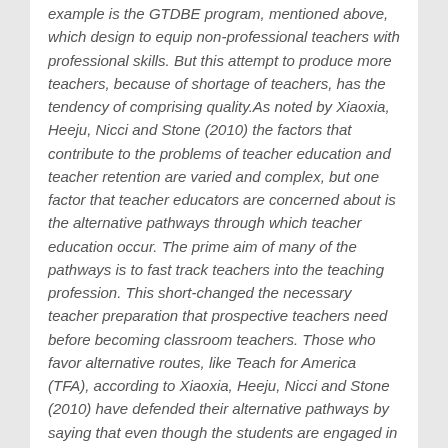example is the GTDBE program, mentioned above, which design to equip non-professional teachers with professional skills. But this attempt to produce more teachers, because of shortage of teachers, has the tendency of comprising quality.As noted by Xiaoxia, Heeju, Nicci and Stone (2010) the factors that contribute to the problems of teacher education and teacher retention are varied and complex, but one factor that teacher educators are concerned about is the alternative pathways through which teacher education occur. The prime aim of many of the pathways is to fast track teachers into the teaching profession. This short-changed the necessary teacher preparation that prospective teachers need before becoming classroom teachers. Those who favor alternative routes, like Teach for America (TFA), according to Xiaoxia, Heeju, Nicci and Stone (2010) have defended their alternative pathways by saying that even though the students are engaged in a short-period of pre-service training, the students are academically brilliant and so have the capacity to learn a lot in a short period. Others argue that in subjects like English, Science and mathematics where there are